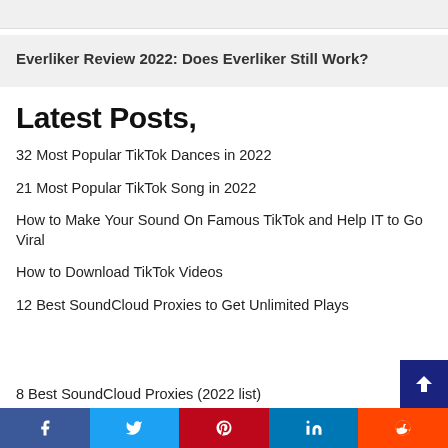Everliker Review 2022: Does Everliker Still Work?
Latest Posts,
32 Most Popular TikTok Dances in 2022
21 Most Popular TikTok Song in 2022
How to Make Your Sound On Famous TikTok and Help IT to Go Viral
How to Download TikTok Videos
12 Best SoundCloud Proxies to Get Unlimited Plays
8 Best SoundCloud Proxies (2022 list)